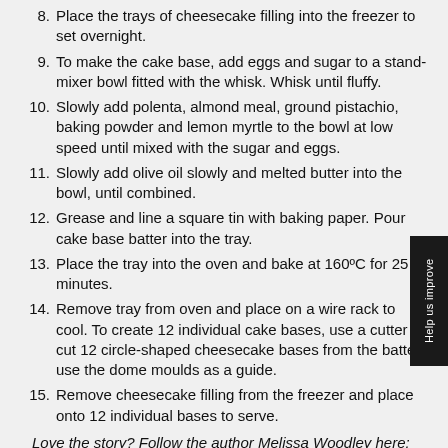8. Place the trays of cheesecake filling into the freezer to set overnight.
9. To make the cake base, add eggs and sugar to a stand-mixer bowl fitted with the whisk. Whisk until fluffy.
10. Slowly add polenta, almond meal, ground pistachio, baking powder and lemon myrtle to the bowl at low speed until mixed with the sugar and eggs.
11. Slowly add olive oil slowly and melted butter into the bowl, until combined.
12. Grease and line a square tin with baking paper. Pour cake base batter into the tray.
13. Place the tray into the oven and bake at 160ºC for 25 minutes.
14. Remove tray from oven and place on a wire rack to cool. To create 12 individual cake bases, use a cutter cut 12 circle-shaped cheesecake bases from the batte – use the dome moulds as a guide.
15. Remove cheesecake filling from the freezer and place onto 12 individual bases to serve.
Love the story? Follow the author Melissa Woodley here: